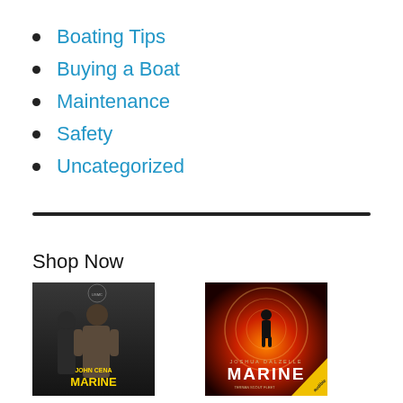Boating Tips
Buying a Boat
Maintenance
Safety
Uncategorized
Shop Now
[Figure (photo): Movie poster for 'The Marine' featuring John Cena]
[Figure (photo): Audible audiobook cover for 'Marine' by Joshua Dalzelle, Terran Scout Fleet series]